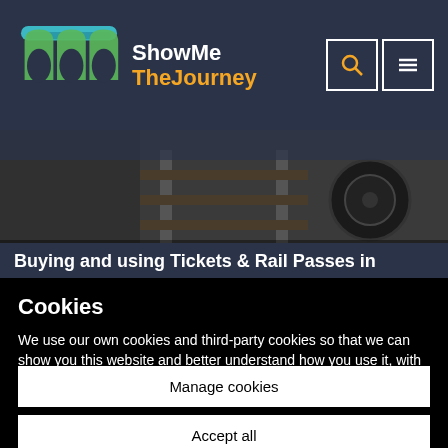[Figure (logo): ShowMeTheJourney website logo with stylized rail/arch icon in teal and green, text 'ShowMe' in white and 'TheJourney' in orange]
[Figure (photo): Close-up photograph of railway tracks and train wheels, dark moody lighting]
Buying and using Tickets & Rail Passes in
Cookies
We use our own cookies and third-party cookies so that we can show you this website and better understand how you use it, with a view to improving the services we offer.
Manage cookies
Accept all